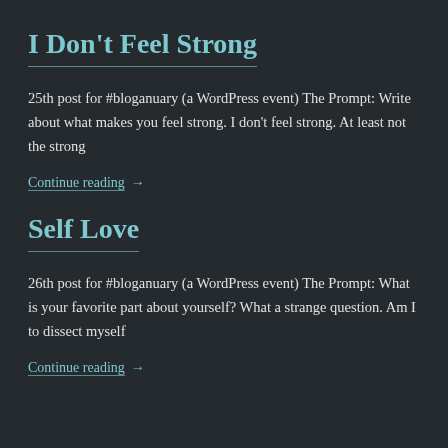I Don't Feel Strong
25th post for #bloganuary (a WordPress event) The Prompt: Write about what makes you feel strong. I don't feel strong. At least not the strong
Continue reading →
Self Love
26th post for #bloganuary (a WordPress event) The Prompt: What is your favorite part about yourself? What a strange question. Am I to dissect myself
Continue reading →